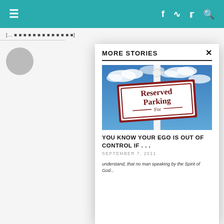≡  f  ⊕  𝕏  🔍
[...]
MORE STORIES
[Figure (photo): A reserved parking sign on a post against a blue sky with clouds. Sign reads 'Reserved Parking For']
YOU KNOW YOUR EGO IS OUT OF CONTROL IF . . .
SEPTEMBER 7, 2011
understand, that no man speaking by the Spirit of God...